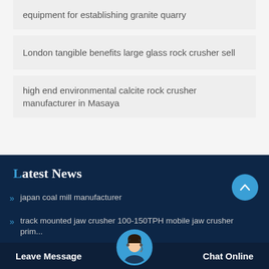equipment for establishing granite quarry
London tangible benefits large glass rock crusher sell
high end environmental calcite rock crusher manufacturer in Masaya
Latest News
japan coal mill manufacturer
track mounted jaw crusher 100-150TPH mobile jaw crusher prim...
Serena Rock Ltd Elegbeka...n
Leave Message   Chat Online